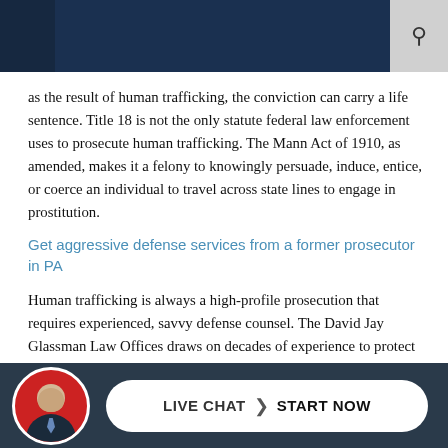as the result of human trafficking, the conviction can carry a life sentence. Title 18 is not the only statute federal law enforcement uses to prosecute human trafficking. The Mann Act of 1910, as amended, makes it a felony to knowingly persuade, induce, entice, or coerce an individual to travel across state lines to engage in prostitution.
Get aggressive defense services from a former prosecutor in PA
Human trafficking is always a high-profile prosecution that requires experienced, savvy defense counsel. The David Jay Glassman Law Offices draws on decades of experience to protect your rights in a federal prosecution. Call today at 215-563-7100 or contact us online to schedule an in-depth evaluation of your case.
LIVE CHAT  START NOW